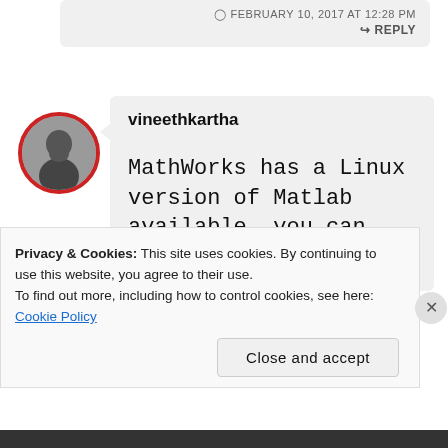FEBRUARY 10, 2017 AT 12:28 PM
↳ REPLY
vineethkartha
MathWorks has a Linux version of Matlab available, you can get it there
Privacy & Cookies: This site uses cookies. By continuing to use this website, you agree to their use.
To find out more, including how to control cookies, see here: Cookie Policy
Close and accept